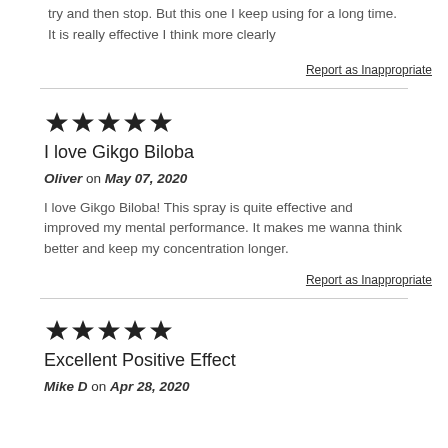try and then stop. But this one I keep using for a long time. It is really effective I think more clearly
Report as Inappropriate
★★★★★
I love Gikgo Biloba
Oliver on May 07, 2020
I love Gikgo Biloba! This spray is quite effective and improved my mental performance. It makes me wanna think better and keep my concentration longer.
Report as Inappropriate
★★★★★
Excellent Positive Effect
Mike D on Apr 28, 2020